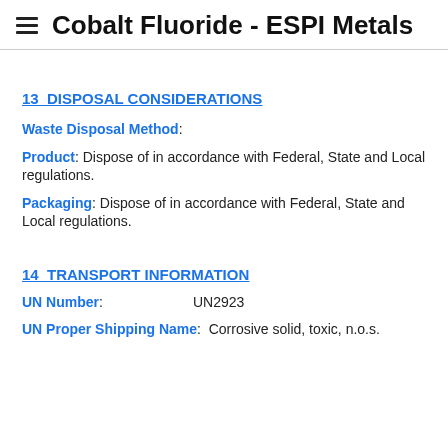Cobalt Fluoride - ESPI Metals
13  DISPOSAL CONSIDERATIONS
Waste Disposal Method:
Product: Dispose of in accordance with Federal, State and Local regulations.
Packaging: Dispose of in accordance with Federal, State and Local regulations.
14  TRANSPORT INFORMATION
UN Number: UN2923
UN Proper Shipping Name:  Corrosive solid, toxic, n.o.s.